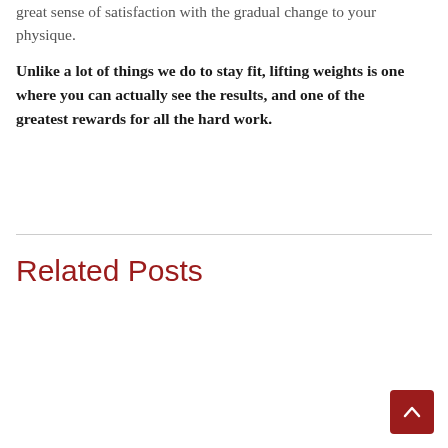great sense of satisfaction with the gradual change to your physique.
Unlike a lot of things we do to stay fit, lifting weights is one where you can actually see the results, and one of the greatest rewards for all the hard work.
Related Posts